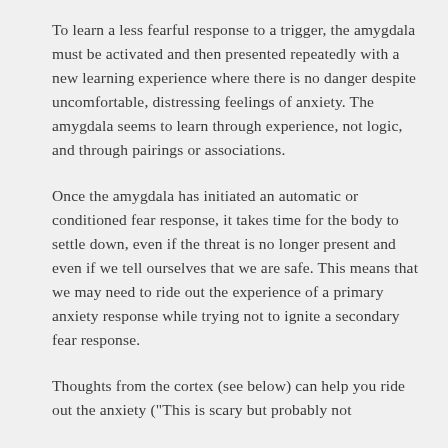To learn a less fearful response to a trigger, the amygdala must be activated and then presented repeatedly with a new learning experience where there is no danger despite uncomfortable, distressing feelings of anxiety. The amygdala seems to learn through experience, not logic, and through pairings or associations.
Once the amygdala has initiated an automatic or conditioned fear response, it takes time for the body to settle down, even if the threat is no longer present and even if we tell ourselves that we are safe. This means that we may need to ride out the experience of a primary anxiety response while trying not to ignite a secondary fear response.
Thoughts from the cortex (see below) can help you ride out the anxiety ("This is scary but probably not